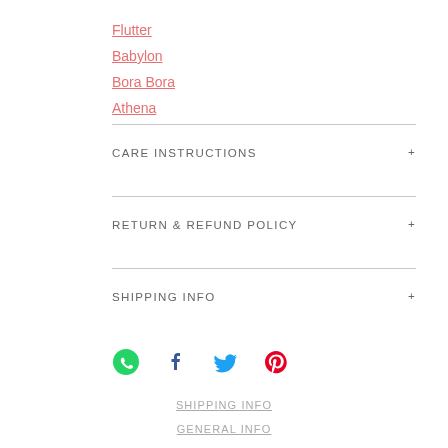Flutter
Babylon
Bora Bora
Athena
CARE INSTRUCTIONS
RETURN & REFUND POLICY
SHIPPING INFO
[Figure (other): Social share icons: WhatsApp (green), Facebook (dark blue), Twitter (light blue), Pinterest (red)]
SHIPPING INFO
GENERAL INFO